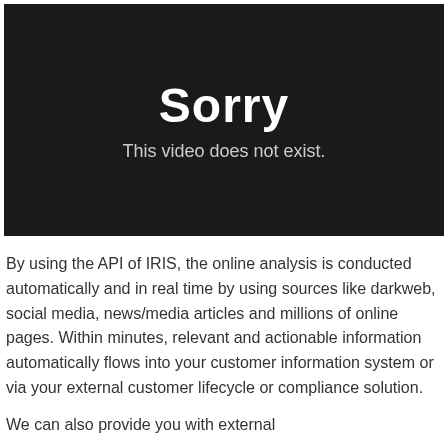[Figure (other): Black video player placeholder showing 'Sorry — This video does not exist.' error message on dark background.]
By using the API of IRIS, the online analysis is conducted automatically and in real time by using sources like darkweb, social media, news/media articles and millions of online pages. Within minutes, relevant and actionable information automatically flows into your customer information system or via your external customer lifecycle or compliance solution.
We can also provide you with external...